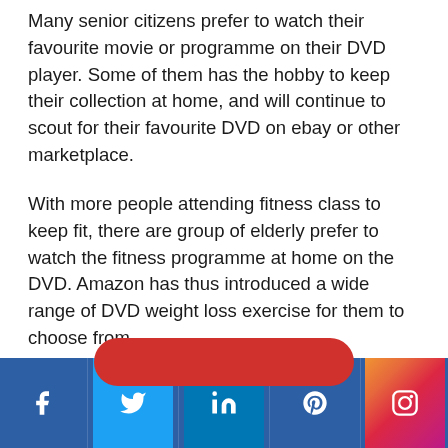Many senior citizens prefer to watch their favourite movie or programme on their DVD player. Some of them has the hobby to keep their collection at home, and will continue to scout for their favourite DVD on ebay or other marketplace.
With more people attending fitness class to keep fit, there are group of elderly prefer to watch the fitness programme at home on the DVD. Amazon has thus introduced a wide range of DVD weight loss exercise for them to choose from.
[Figure (infographic): Social media sharing bar at the bottom with Facebook, Twitter, LinkedIn, Pinterest, and Instagram icons on a blue background, with a red pill-shaped share button above.]